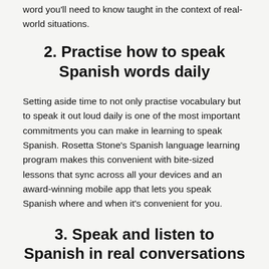word you'll need to know taught in the context of real-world situations.
2. Practise how to speak Spanish words daily
Setting aside time to not only practise vocabulary but to speak it out loud daily is one of the most important commitments you can make in learning to speak Spanish. Rosetta Stone's Spanish language learning program makes this convenient with bite-sized lessons that sync across all your devices and an award-winning mobile app that lets you speak Spanish where and when it's convenient for you.
3. Speak and listen to Spanish in real conversations
Daily practise is essential, but the confidence you'll get